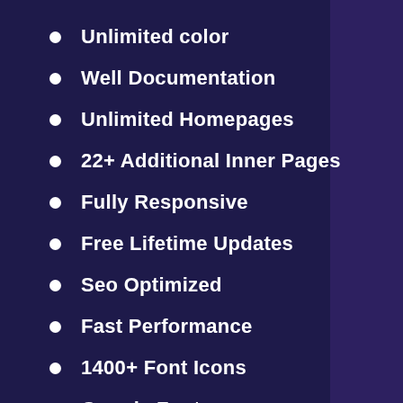Unlimited color
Well Documentation
Unlimited Homepages
22+ Additional Inner Pages
Fully Responsive
Free Lifetime Updates
Seo Optimized
Fast Performance
1400+ Font Icons
Google Fonts
Google Maps
HTML5 & CSS3
Based on Bootstrap